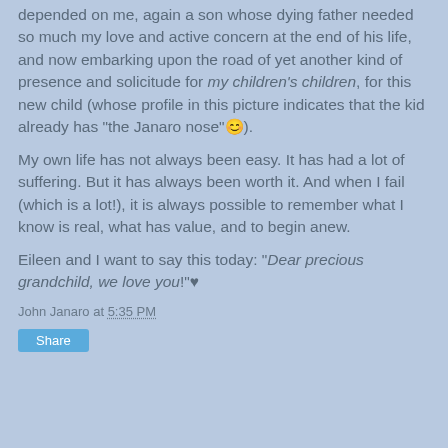depended on me, again a son whose dying father needed so much my love and active concern at the end of his life, and now embarking upon the road of yet another kind of presence and solicitude for my children's children, for this new child (whose profile in this picture indicates that the kid already has "the Janaro nose"☺).
My own life has not always been easy. It has had a lot of suffering. But it has always been worth it. And when I fail (which is a lot!), it is always possible to remember what I know is real, what has value, and to begin anew.
Eileen and I want to say this today: "Dear precious grandchild, we love you!"♥
John Janaro at 5:35 PM
Share